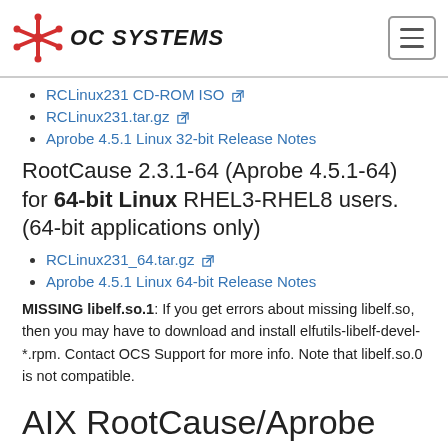OC SYSTEMS
RCLinux231 CD-ROM ISO
RCLinux231.tar.gz
Aprobe 4.5.1 Linux 32-bit Release Notes
RootCause 2.3.1-64 (Aprobe 4.5.1-64) for 64-bit Linux RHEL3-RHEL8 users. (64-bit applications only)
RCLinux231_64.tar.gz
Aprobe 4.5.1 Linux 64-bit Release Notes
MISSING libelf.so.1: If you get errors about missing libelf.so, then you may have to download and install elfutils-libelf-devel-*.rpm. Contact OCS Support for more info. Note that libelf.so.0 is not compatible.
AIX RootCause/Aprobe Downloads
Updated November 1, 2019